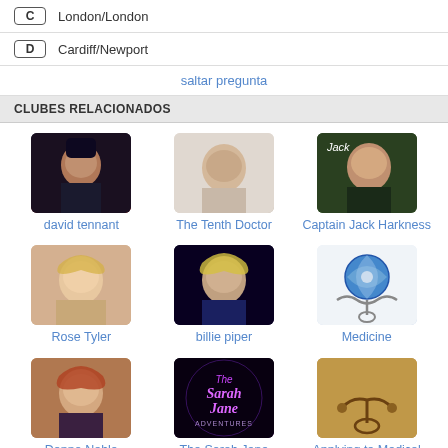C  London/London
D  Cardiff/Newport
saltar pregunta
CLUBES RELACIONADOS
[Figure (photo): Photo of david tennant - dark haired man]
david tennant
[Figure (photo): Photo for The Tenth Doctor]
The Tenth Doctor
[Figure (photo): Photo of Captain Jack Harkness smiling]
Captain Jack Harkness
[Figure (photo): Photo of Rose Tyler - blonde woman smiling]
Rose Tyler
[Figure (photo): Photo of billie piper - blonde woman]
billie piper
[Figure (illustration): Globe with stethoscope - Medicine club icon]
Medicine
[Figure (photo): Photo of Donna Noble - red haired woman]
Donna Noble
[Figure (illustration): The Sarah Jane Adventures logo]
The Sarah Jane Adventures
[Figure (photo): Stethoscope on golden background - Applying to Medical School]
Applying to Medical School
más clubes >>